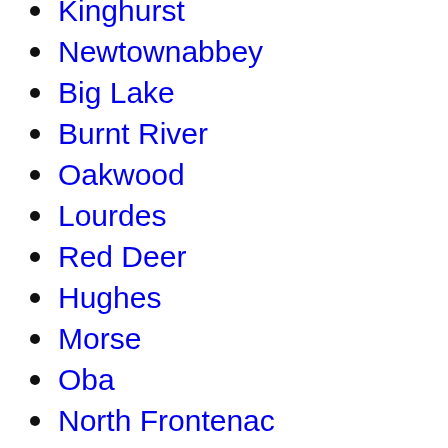Kinghurst
Newtownabbey
Big Lake
Burnt River
Oakwood
Lourdes
Red Deer
Hughes
Morse
Oba
North Frontenac